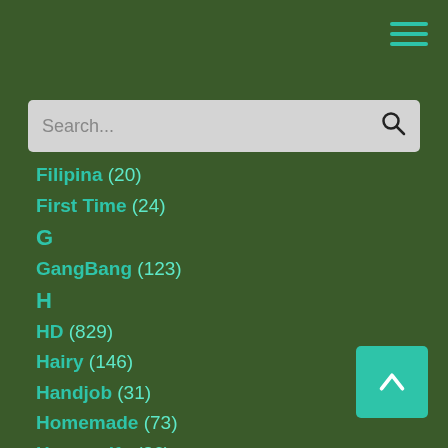≡ (hamburger menu icon)
Search...
Filipina (20)
First Time (24)
G
GangBang (123)
H
HD (829)
Hairy (146)
Handjob (31)
Homemade (73)
Housewife (26)
I
Interracial (41)
J